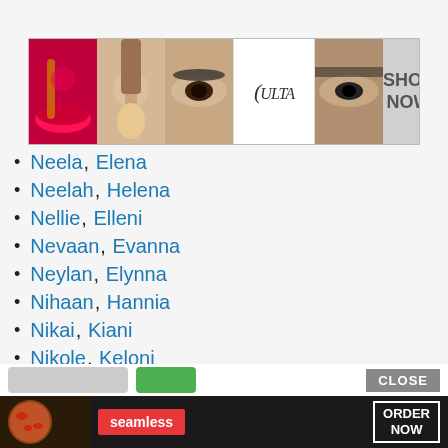[Figure (illustration): Ulta Beauty advertisement banner with makeup images and 'SHOP NOW' button]
Neela, Elena
Neelah, Helena
Nellie, Elleni
Nevaan, Evanna
Neylan, Elynna
Nihaan, Hannia
Nikai, Kiani
Nikole, Keloni
We use cookies on our website to give you the most relevant experience by remembering your preferences and repeat visits. By clicking “Accept”, you consent to the use of ALL the cookies.
Do not sell my personal information.
[Figure (illustration): Seamless food delivery advertisement banner with pizza image, Seamless logo, and 'ORDER NOW' button]
CLOSE